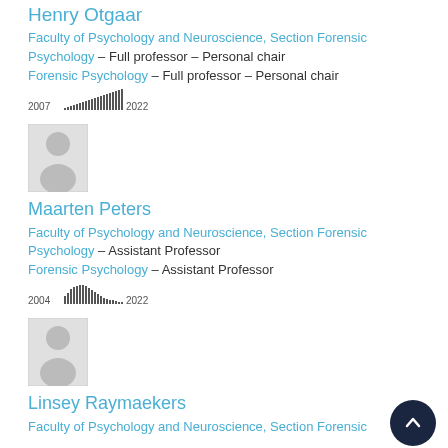Henry Otgaar
Faculty of Psychology and Neuroscience, Section Forensic Psychology – Full professor – Personal chair
Forensic Psychology – Full professor – Personal chair
[Figure (bar-chart): Publications 2007-2022]
[Figure (illustration): Default avatar / silhouette placeholder image for Maarten Peters]
Maarten Peters
Faculty of Psychology and Neuroscience, Section Forensic Psychology – Assistant Professor
Forensic Psychology – Assistant Professor
[Figure (bar-chart): Publications 2004-2022]
[Figure (illustration): Default avatar / silhouette placeholder image for Linsey Raymaekers]
Linsey Raymaekers
Faculty of Psychology and Neuroscience, Section Forensic